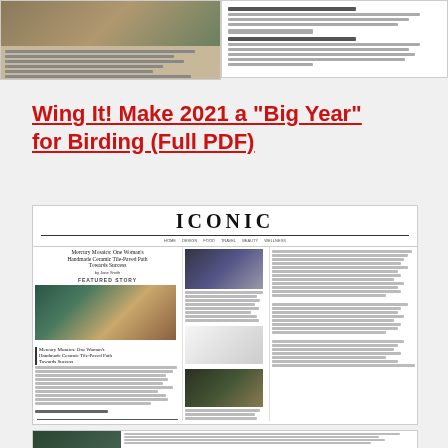[Figure (screenshot): Two thumbnail previews of document pages side by side at top of page]
Wing It! Make 2021 a “Big Year” for Birding (Full PDF)
[Figure (screenshot): Thumbnail of ICONIC magazine spread featuring 'Mercury Mosaics: One Woman's Handmade Ceramic Tile-Paved Path Towards Success' article with photos of kitchen tiles and interiors]
[Figure (screenshot): Partial thumbnail of additional article pages at bottom of screen]